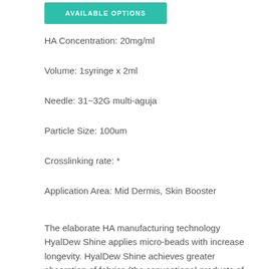AVAILABLE OPTIONS
HA Concentration: 20mg/ml
Volume: 1syringe x 2ml
Needle: 31~32G multi-aguja
Particle Size: 100um
Crosslinking rate: *
Application Area: Mid Dermis, Skin Booster
The elaborate HA manufacturing technology HyalDew Shine applies micro-beads with increase longevity. HyalDew Shine achieves greater absorption of fabrics (the conventional products of gloss of water last from 5 to 10 days, while HyalDew